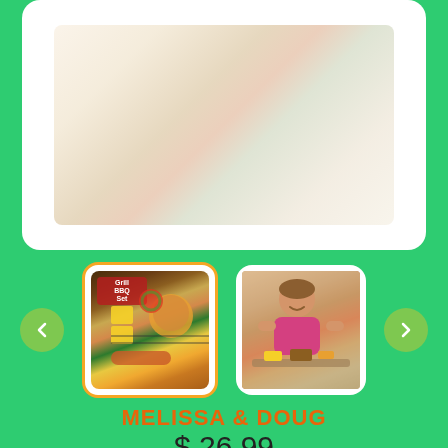[Figure (photo): Blurred product image of a BBQ toy set shown in a white rounded card at the top of the screen]
[Figure (photo): Thumbnail of Melissa & Doug BBQ Set toy product box showing grill items]
[Figure (photo): Thumbnail photo of a young girl in pink shirt playing with the BBQ toy set]
MELISSA & DOUG
$ 26.99